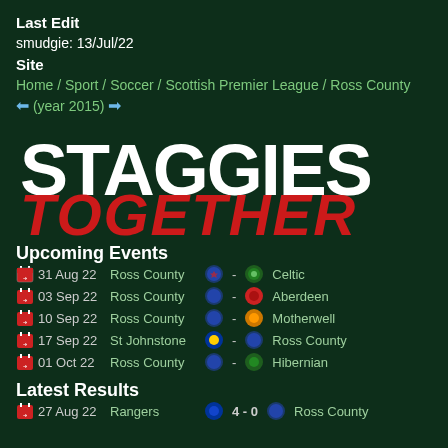Last Edit
smudgie: 13/Jul/22
Site
Home / Sport / Soccer / Scottish Premier League / Ross County
← (year 2015) →
[Figure (logo): Staggies Together logo — STAGGIES in white bold uppercase, TOGETHER in red bold italic uppercase]
Upcoming Events
31 Aug 22  Ross County - Celtic
03 Sep 22  Ross County - Aberdeen
10 Sep 22  Ross County - Motherwell
17 Sep 22  St Johnstone - Ross County
01 Oct 22  Ross County - Hibernian
Latest Results
27 Aug 22  Rangers  4 - 0  Ross County